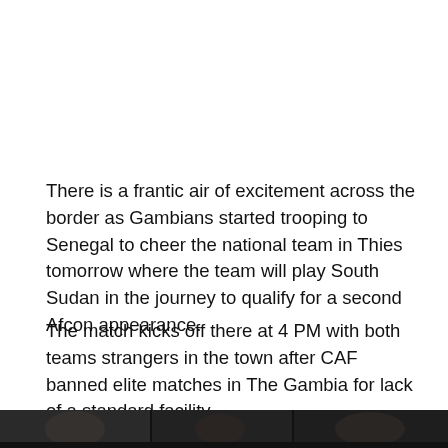There is a frantic air of excitement across the border as Gambians started trooping to Senegal to cheer the national team in Thies tomorrow where the team will play South Sudan in the journey to qualify for a second Afcon appearance.
The match kicks off there at 4 PM with both teams strangers in the town after CAF banned elite matches in The Gambia for lack of a standard facility.
[Figure (photo): A dark photo strip at the bottom of the page showing partial view of people or a crowd scene.]